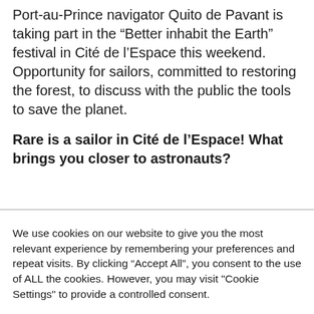Port-au-Prince navigator Quito de Pavant is taking part in the “Better inhabit the Earth” festival in Cité de l’Espace this weekend. Opportunity for sailors, committed to restoring the forest, to discuss with the public the tools to save the planet.
Rare is a sailor in Cité de l’Espace! What brings you closer to astronauts?
We use cookies on our website to give you the most relevant experience by remembering your preferences and repeat visits. By clicking “Accept All”, you consent to the use of ALL the cookies. However, you may visit "Cookie Settings" to provide a controlled consent.